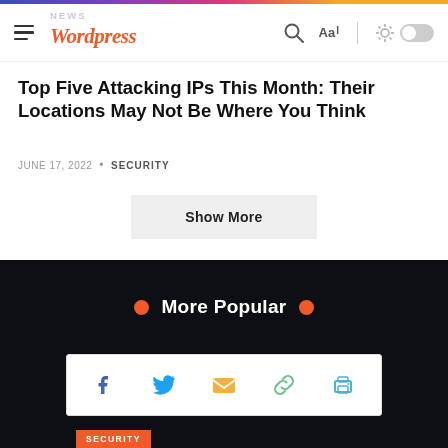NEWS Wordpress
Top Five Attacking IPs This Month: Their Locations May Not Be Where You Think
JUNE 17, 2022 • SECURITY
Show More
• More Popular •
[Figure (other): Social share bar with Facebook, Twitter, email, link, and print icons]
SECURITY